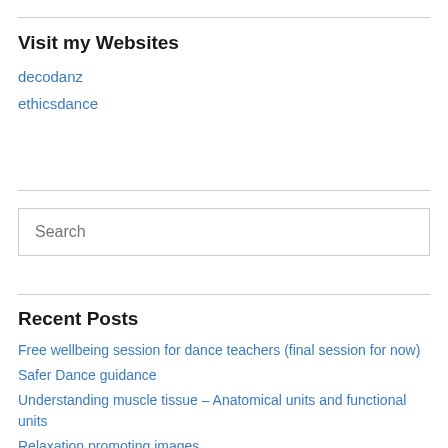Visit my Websites
decodanz
ethicsdance
Free wellbeing session for dance teachers (final session for now)
Recent Posts
Free wellbeing session for dance teachers (final session for now)
Safer Dance guidance
Understanding muscle tissue – Anatomical units and functional units
Relaxation promoting images
Free wellbeing session for dance teachers Monday 21 February